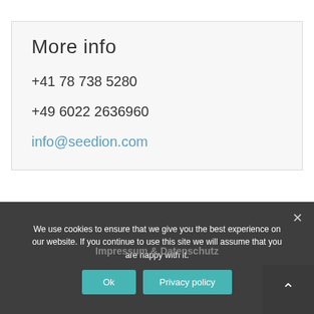More info
+41 78 738 5280
+49 6022 2636960
info@seedion.com
Impressum & Datenschutz
We use cookies to ensure that we give you the best experience on our website. If you continue to use this site we will assume that you are happy with it.
Ok
Privacy policy